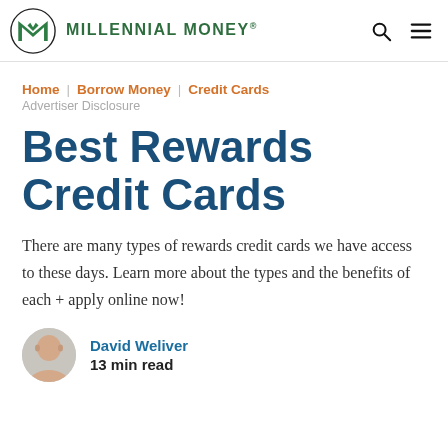MILLENNIAL MONEY®
Home | Borrow Money | Credit Cards
Advertiser Disclosure
Best Rewards Credit Cards
There are many types of rewards credit cards we have access to these days. Learn more about the types and the benefits of each + apply online now!
David Weliver
13 min read